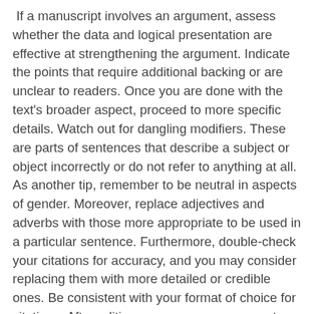If a manuscript involves an argument, assess whether the data and logical presentation are effective at strengthening the argument. Indicate the points that require additional backing or are unclear to readers. Once you are done with the text's broader aspect, proceed to more specific details. Watch out for dangling modifiers. These are parts of sentences that describe a subject or object incorrectly or do not refer to anything at all. As another tip, remember to be neutral in aspects of gender. Moreover, replace adjectives and adverbs with those more appropriate to be used in a particular sentence. Furthermore, double-check your citations for accuracy, and you may consider replacing them with more detailed or credible ones. Be consistent with your format of choice for citations. After editing, you can now move on to proofreading.
What is Proofreading? Proofreading involves specialization in dealing with grammar and spelling errors. This process also focuses on punctuation marks and spaces, making your